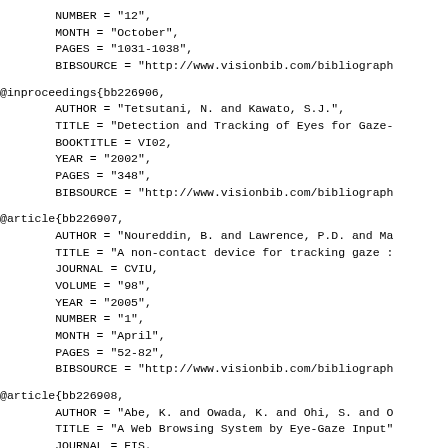NUMBER = "12",
        MONTH = "October",
        PAGES = "1031-1038",
        BIBSOURCE = "http://www.visionbib.com/bibliograph
@inproceedings{bb226906,
        AUTHOR = "Tetsutani, N. and Kawato, S.J.",
        TITLE = "Detection and Tracking of Eyes for Gaze-
        BOOKTITLE = VI02,
        YEAR = "2002",
        PAGES = "348",
        BIBSOURCE = "http://www.visionbib.com/bibliograph
@article{bb226907,
        AUTHOR = "Noureddin, B. and Lawrence, P.D. and Ma
        TITLE = "A non-contact device for tracking gaze :
        JOURNAL = CVIU,
        VOLUME = "98",
        YEAR = "2005",
        NUMBER = "1",
        MONTH = "April",
        PAGES = "52-82",
        BIBSOURCE = "http://www.visionbib.com/bibliograph
@article{bb226908,
        AUTHOR = "Abe, K. and Owada, K. and Ohi, S. and O
        TITLE = "A Web Browsing System by Eye-Gaze Input"
        JOURNAL = EIS,
        VOLUME = "127",
        YEAR = "2007",